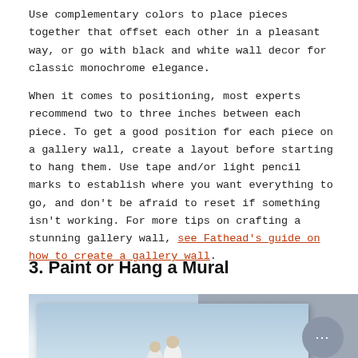Use complementary colors to place pieces together that offset each other in a pleasant way, or go with black and white wall decor for classic monochrome elegance.
When it comes to positioning, most experts recommend two to three inches between each piece. To get a good position for each piece on a gallery wall, create a layout before starting to hang them. Use tape and/or light pencil marks to establish where you want everything to go, and don't be afraid to reset if something isn't working. For more tips on crafting a stunning gallery wall, see Fathead's guide on how to create a gallery wall.
3. Paint or Hang a Mural
[Figure (photo): A family photo print displayed on a canvas or panel, showing people in white clothing against a light sky background, mounted on a grey wall. A chat bubble icon is visible in the lower right corner of the visible wall area.]